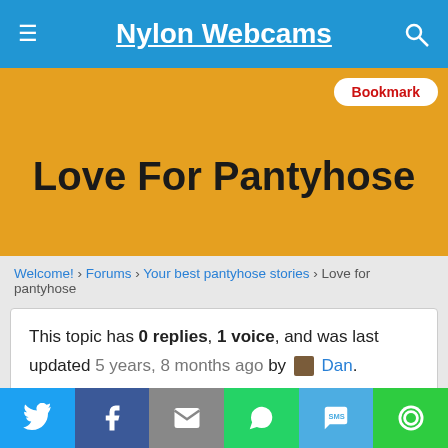Nylon Webcams
Love For Pantyhose
Welcome! › Forums › Your best pantyhose stories › Love for pantyhose
This topic has 0 replies, 1 voice, and was last updated 5 years, 8 months ago by Dan.
Viewing 0 reply threads
Author   Posts
Twitter Facebook Email WhatsApp SMS Share